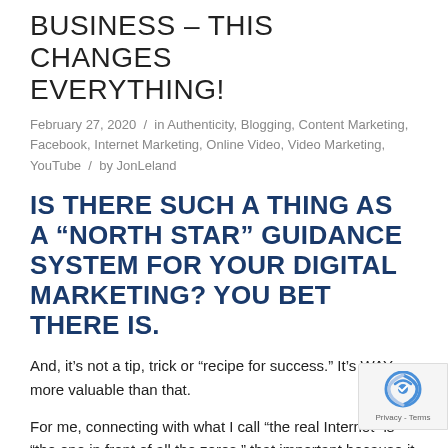BUSINESS – THIS CHANGES EVERYTHING!
February 27, 2020 / in Authenticity, Blogging, Content Marketing, Facebook, Internet Marketing, Online Video, Video Marketing, YouTube / by JonLeland
IS THERE SUCH A THING AS A “NORTH STAR” GUIDANCE SYSTEM FOR YOUR DIGITAL MARKETING? YOU BET THERE IS.
And, it’s not a tip, trick or “recipe for success.” It’s WAY more valuable than that.
For me, connecting with what I call “the real Internet” is “the one in front of all the zeros.” that important because it gives everything else